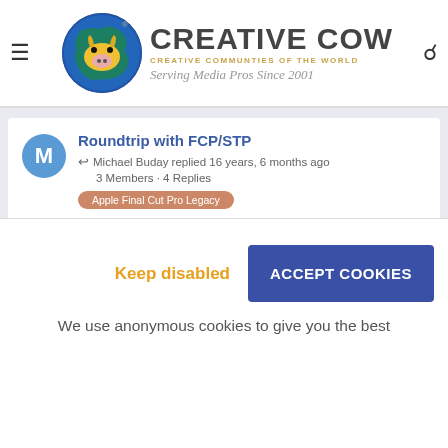[Figure (logo): Creative Cow logo with globe icon, 'CREATIVE COW' text, tagline 'CREATIVE COMMUNTIES OF THE WORLD' and 'Serving Media Pros Since 2001']
Roundtrip with FCP/STP
Michael Buday replied 16 years, 6 months ago
3 Members · 4 Replies
Apple Final Cut Pro Legacy
“Effect Handling” Settings – Using
Keep disabled
ACCEPT COOKIES
We use anonymous cookies to give you the best
Editing to tape seems to work, but NO